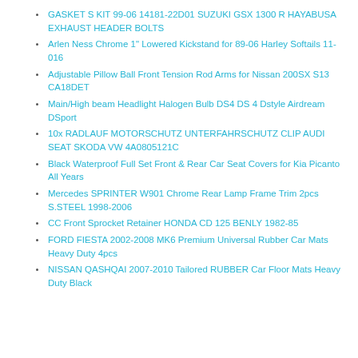GASKET S KIT 99-06 14181-22D01 SUZUKI GSX 1300 R HAYABUSA EXHAUST HEADER BOLTS
Arlen Ness Chrome 1" Lowered Kickstand for 89-06 Harley Softails 11-016
Adjustable Pillow Ball Front Tension Rod Arms for Nissan 200SX S13 CA18DET
Main/High beam Headlight Halogen Bulb DS4 DS 4 Dstyle Airdream DSport
10x RADLAUF MOTORSCHUTZ UNTERFAHRSCHUTZ CLIP AUDI SEAT SKODA VW 4A0805121C
Black Waterproof Full Set Front & Rear Car Seat Covers for Kia Picanto All Years
Mercedes SPRINTER W901 Chrome Rear Lamp Frame Trim 2pcs S.STEEL 1998-2006
CC Front Sprocket Retainer HONDA CD 125 BENLY 1982-85
FORD FIESTA 2002-2008 MK6 Premium Universal Rubber Car Mats Heavy Duty 4pcs
NISSAN QASHQAI 2007-2010 Tailored RUBBER Car Floor Mats Heavy Duty Black